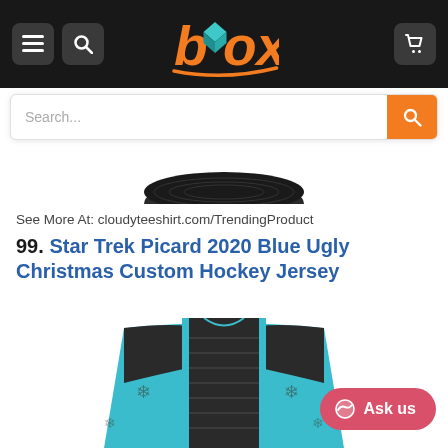[Figure (screenshot): E-commerce website header with black background, hamburger menu icon, search icon, Box logo (orange and teal), and cart icon]
[Figure (screenshot): Search bar with placeholder text 'Search...' and orange search button]
[Figure (photo): Partial view of the bottom of a black hockey puck]
See More At: cloudyteeshirt.com/TrendingProduct
99. Star Trek Picard 2020 Blue Ugly Christmas Custom Hockey Jersey
[Figure (photo): Back view of a teal and black Star Trek Picard ugly Christmas custom hockey jersey with snowflake pattern]
Ask us